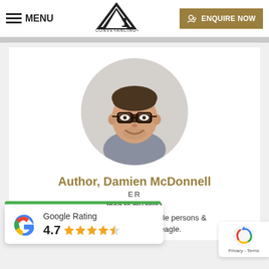MENU | A1 Conveyancing logo | ENQUIRE NOW
[Figure (photo): Circular profile photo of a man with glasses and short brown hair wearing a patterned shirt, smiling. Background is light grey circle.]
Author, Damien McDonnell
ER
thed to my first t
love & father to 3 fantastic little persons & one food obsessed beagle.
[Figure (other): Google Rating widget showing 4.7 stars out of 5 with star icons, with a green bar at top]
[Figure (other): Privacy - Terms reCAPTCHA badge at bottom right]